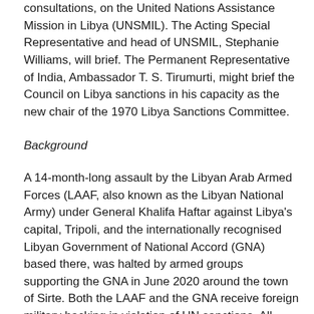consultations, on the United Nations Assistance Mission in Libya (UNSMIL). The Acting Special Representative and head of UNSMIL, Stephanie Williams, will brief. The Permanent Representative of India, Ambassador T. S. Tirumurti, might brief the Council on Libya sanctions in his capacity as the new chair of the 1970 Libya Sanctions Committee.
Background
A 14-month-long assault by the Libyan Arab Armed Forces (LAAF, also known as the Libyan National Army) under General Khalifa Haftar against Libya's capital, Tripoli, and the internationally recognised Libyan Government of National Accord (GNA) based there, was halted by armed groups supporting the GNA in June 2020 around the town of Sirte. Both the LAAF and the GNA receive foreign military backing in violation of UN sanctions. All foreign sponsors except Turkey deny their role in Libya.